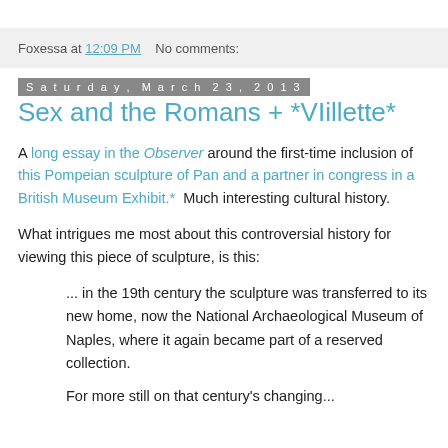Foxessa at 12:09 PM    No comments:
Saturday, March 23, 2013
Sex and the Romans + *VIillette*
A long essay in the Observer around the first-time inclusion of this Pompeian sculpture of Pan and a partner in congress in a British Museum Exhibit.*  Much interesting cultural history.
What intrigues me most about this controversial history for viewing this piece of sculpture, is this:
... in the 19th century the sculpture was transferred to its new home, now the National Archaeological Museum of Naples, where it again became part of a reserved collection.
For more still on that century's changing...